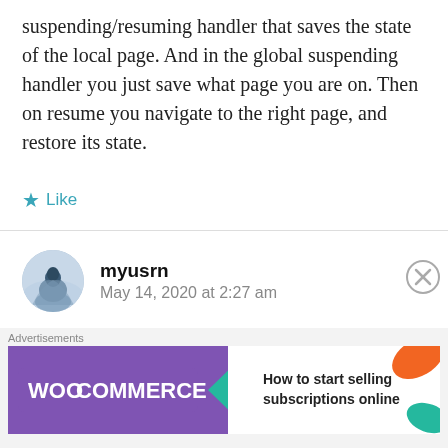suspending/resuming handler that saves the state of the local page. And in the global suspending handler you just save what page you are on. Then on resume you navigate to the right page, and restore its state.
Like
myusrn
May 14, 2020 at 2:27 am
Related to this does something jump to mind as to how one would detect case when uwp app is being initially launched, either manually or
Advertisements
How to start selling subscriptions online